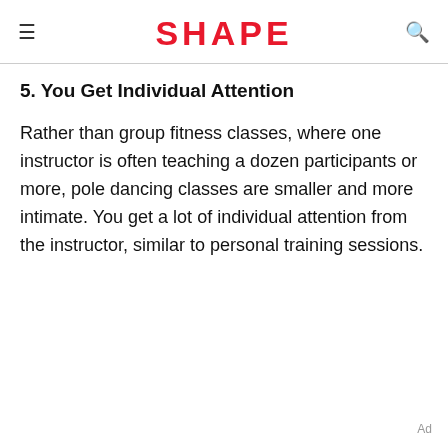SHAPE
5. You Get Individual Attention
Rather than group fitness classes, where one instructor is often teaching a dozen participants or more, pole dancing classes are smaller and more intimate. You get a lot of individual attention from the instructor, similar to personal training sessions.
Ad